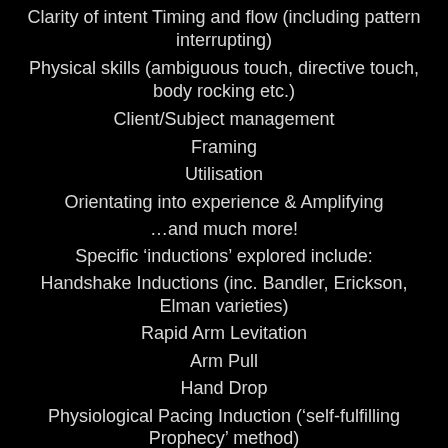Clarity of intent Timing and flow (including pattern interrupting)
Physical skills (ambiguous touch, directive touch, body rocking etc.)
Client/Subject management
Framing
Utilisation
Orientating into experience & Amplifying
…and much more!
Specific ‘inductions’ explored include:
Handshake Inductions (inc. Bandler, Erickson, Elman varieties)
Rapid Arm Levitation
Arm Pull
Hand Drop
Physiological Pacing Induction (‘self-fulfilling Prophecy’ method)